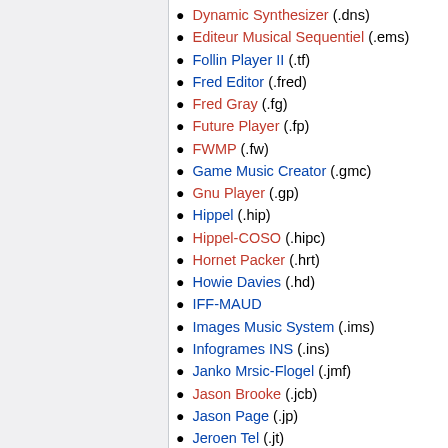Dynamic Synthesizer (.dns)
Editeur Musical Sequentiel (.ems)
Follin Player II (.tf)
Fred Editor (.fred)
Fred Gray (.fg)
Future Player (.fp)
FWMP (.fw)
Game Music Creator (.gmc)
Gnu Player (.gp)
Hippel (.hip)
Hippel-COSO (.hipc)
Hornet Packer (.hrt)
Howie Davies (.hd)
IFF-MAUD
Images Music System (.ims)
Infogrames INS (.ins)
Janko Mrsic-Flogel (.jmf)
Jason Brooke (.jcb)
Jason Page (.jp)
Jeroen Tel (.jt)
Jesper Olsen (.jo)
Jochen Hippel (.hip)